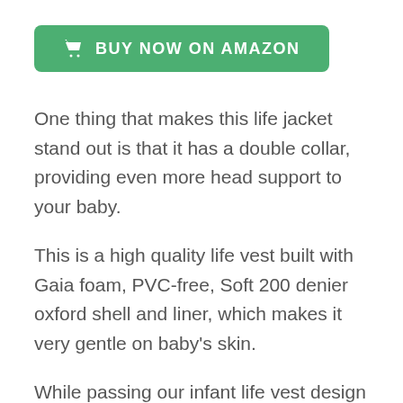[Figure (other): Green 'BUY NOW ON AMAZON' button with shopping cart icon]
One thing that makes this life jacket stand out is that it has a double collar, providing even more head support to your baby.
This is a high quality life vest built with Gaia foam, PVC-free, Soft 200 denier oxford shell and liner, which makes it very gentle on baby's skin.
While passing our infant life vest design test with its grab handle, straps and head support, it also offers comfort and mobility with large arm holes and open back.